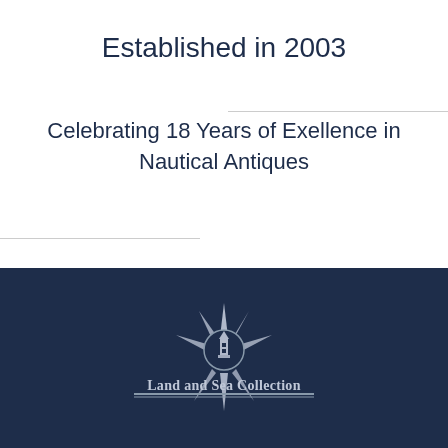Established in 2003
Celebrating 18 Years of Exellence in Nautical Antiques
[Figure (logo): Land and Sea Collection logo: a compass/sun burst design with a lighthouse or ship motif in the center, silver/white tones on dark navy background, with the text 'Land and Sea Collection' below it]